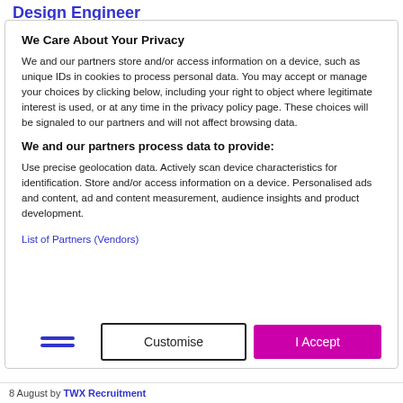Design Engineer
We Care About Your Privacy
We and our partners store and/or access information on a device, such as unique IDs in cookies to process personal data. You may accept or manage your choices by clicking below, including your right to object where legitimate interest is used, or at any time in the privacy policy page. These choices will be signaled to our partners and will not affect browsing data.
We and our partners process data to provide:
Use precise geolocation data. Actively scan device characteristics for identification. Store and/or access information on a device. Personalised ads and content, ad and content measurement, audience insights and product development.
List of Partners (Vendors)
8 August by TWX Recruitment